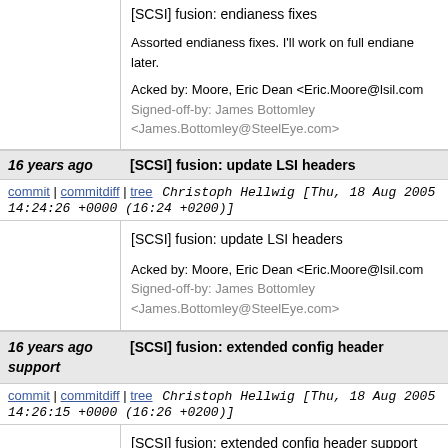| [partial top row visible] |
| 16 years ago | [SCSI] fusion: update LSI headers |
| commit | commitdiff | tree | Christoph Hellwig [Thu, 18 Aug 2005 14:24:26 +0000 (16:24 +0200)] |
| [SCSI] fusion: update LSI headers

Acked by: Moore, Eric Dean <Eric.Moore@lsil.com>
Signed-off-by: James Bottomley <James.Bottomley@SteelEye.com> |
| 16 years ago | [SCSI] fusion: extended config header support |
| commit | commitdiff | tree | Christoph Hellwig [Thu, 18 Aug 2005 14:26:15 +0000 (16:26 +0200)] |
| [SCSI] fusion: extended config header support |